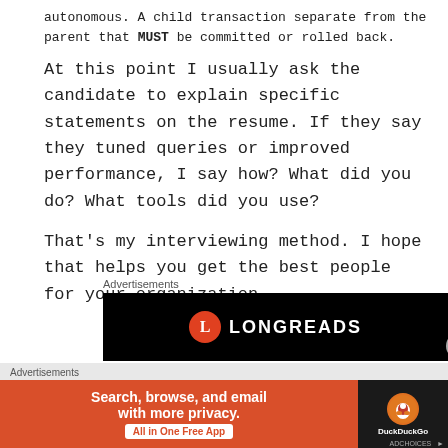autonomous. A child transaction separate from the parent that MUST be committed or rolled back.
At this point I usually ask the candidate to explain specific statements on the resume. If they say they tuned queries or improved performance, I say how? What did you do? What tools did you use?
That's my interviewing method. I hope that helps you get the best people for your organization.
Advertisements
[Figure (other): Longreads advertisement banner with black background, red circle with L logo, and LONGREADS text in white]
Advertisements
[Figure (other): DuckDuckGo advertisement banner with orange left panel saying Search, browse, and email with more privacy. All in One Free App, and dark right panel with DuckDuckGo logo]